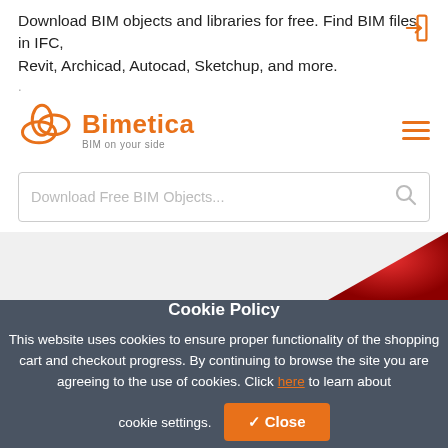Download BIM objects and libraries for free. Find BIM files in IFC, Revit, Archicad, Autocad, Sketchup, and more.
[Figure (logo): Bimetica logo with orange interlocking circles and orange text 'Bimetica' with tagline 'BIM on your side']
Download Free BIM Objects...
[Figure (illustration): Red triangle graphic partially visible against grey background]
Cookie Policy
This website uses cookies to ensure proper functionality of the shopping cart and checkout progress. By continuing to browse the site you are agreeing to the use of cookies. Click here to learn about cookie settings.
Fire Alarm Pictogram,